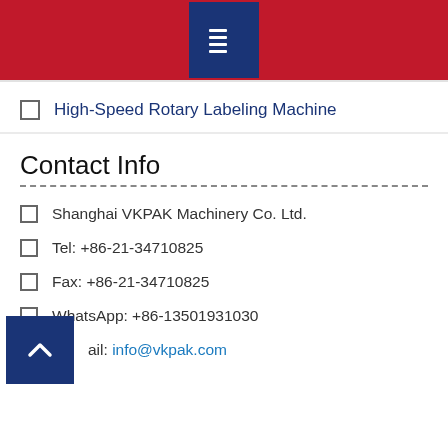Menu icon header
High-Speed Rotary Labeling Machine
Contact Info
Shanghai VKPAK Machinery Co. Ltd.
Tel: +86-21-34710825
Fax: +86-21-34710825
WhatsApp: +86-13501931030
Email: info@vkpak.com